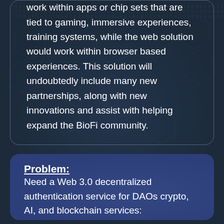which makes it a perfect match for BioFi technology. The on device solution could work within apps or chip sets that are tied to gaming, immersive experiences, training systems, while the web solution would work within browser based experiences. This solution will undoubtedly include many new partnerships, along with new innovations and assist with helping expand the BioFi community.
Problem:
Need a Web 3.0 decentralized authentication service for DAOs crypto, AI, and blockchain services: